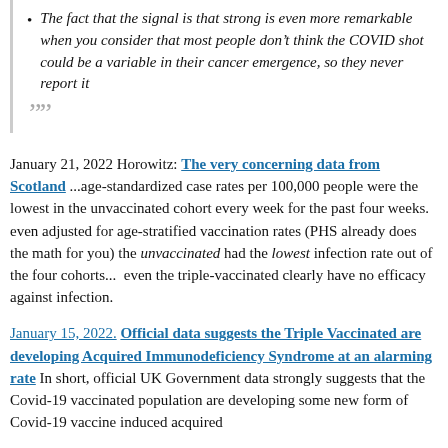The fact that the signal is that strong is even more remarkable when you consider that most people don't think the COVID shot could be a variable in their cancer emergence, so they never report it
””
January 21, 2022 Horowitz: The very concerning data from Scotland ...age-standardized case rates per 100,000 people were the lowest in the unvaccinated cohort every week for the past four weeks.  even adjusted for age-stratified vaccination rates (PHS already does the math for you) the unvaccinated had the lowest infection rate out of the four cohorts...  even the triple-vaccinated clearly have no efficacy against infection.
January 15, 2022. Official data suggests the Triple Vaccinated are developing Acquired Immunodeficiency Syndrome at an alarming rate In short, official UK Government data strongly suggests that the Covid-19 vaccinated population are developing some new form of Covid-19 vaccine induced acquired